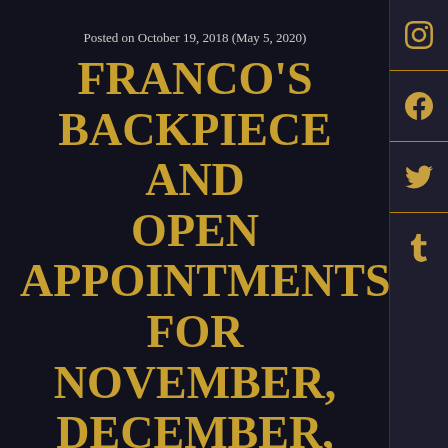Posted on October 19, 2018 (May 5, 2020)
FRANCO'S BACKPIECE AND OPEN APPOINTMENTS FOR NOVEMBER, DECEMBER, AND JANUARY
I finished Franco's backpiece.  Lined in one session, and finished in two back to back sessions.  He is very tough.